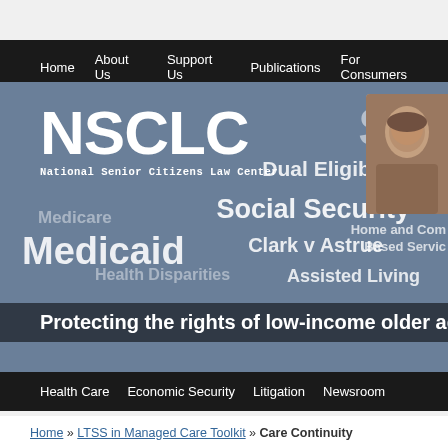Home   About Us   Support Us   Publications   For Consumers
[Figure (screenshot): NSCLC (National Senior Citizens Law Center) website hero banner with blue-gray background showing keyword watermarks: SSI, Dual Eligibles, Social Security, Medicare, Clark v Astrue, Medicaid, Health Disparities, Assisted Living, Home and Community Based Services. NSCLC logo in top-left, photo of older man top-right. Bottom tagline: Protecting the rights of low-income older adults.]
Health Care   Economic Security   Litigation   Newsroom
Home » LTSS in Managed Care Toolkit » Care Continuity
Care Continuity
Enrollment in an integrated care model will limit the member…